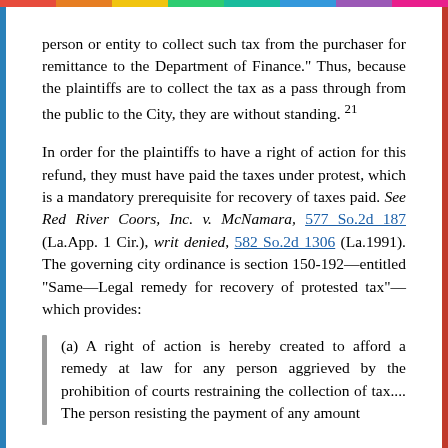person or entity to collect such tax from the purchaser for remittance to the Department of Finance." Thus, because the plaintiffs are to collect the tax as a pass through from the public to the City, they are without standing. 21
In order for the plaintiffs to have a right of action for this refund, they must have paid the taxes under protest, which is a mandatory prerequisite for recovery of taxes paid. See Red River Coors, Inc. v. McNamara, 577 So.2d 187 (La.App. 1 Cir.), writ denied, 582 So.2d 1306 (La.1991). The governing city ordinance is section 150-192—entitled "Same—Legal remedy for recovery of protested tax"—which provides:
(a) A right of action is hereby created to afford a remedy at law for any person aggrieved by the prohibition of courts restraining the collection of tax.... The person resisting the payment of any amount